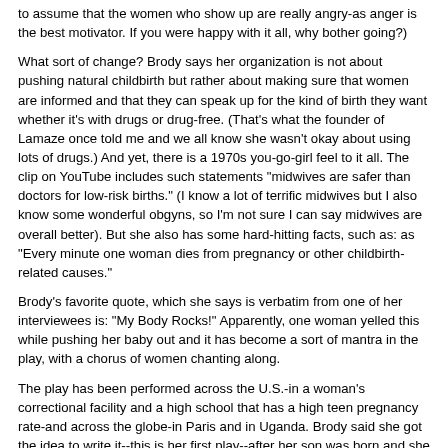to assume that the women who show up are really angry-as anger is the best motivator. If you were happy with it all, why bother going?)
What sort of change? Brody says her organization is not about pushing natural childbirth but rather about making sure that women are informed and that they can speak up for the kind of birth they want whether it's with drugs or drug-free. (That's what the founder of Lamaze once told me and we all know she wasn't okay about using lots of drugs.) And yet, there is a 1970s you-go-girl feel to it all. The clip on YouTube includes such statements "midwives are safer than doctors for low-risk births." (I know a lot of terrific midwives but I also know some wonderful obgyns, so I'm not sure I can say midwives are overall better). But she also has some hard-hitting facts, such as: as "Every minute one woman dies from pregnancy or other childbirth-related causes."
Brody's favorite quote, which she says is verbatim from one of her interviewees is: "My Body Rocks!" Apparently, one woman yelled this while pushing her baby out and it has become a sort of mantra in the play, with a chorus of women chanting along.
The play has been performed across the U.S.-in a woman's correctional facility and a high school that has a high teen pregnancy rate-and across the globe-in Paris and in Uganda. Brody said she got the idea to write it--this is her first play--after her son was born and she was chatting with other new mothers hearing about all sorts of "horrific" birth experiences. She heard about women who had episiotomies without consent, about women who got drugs without wanting any. And as Brody put it, "I started smelling human rights abuses." Rather than gather statistics, she said, she felt she wanted women to tell their stories, which she feels is a more powerful force to influence change.